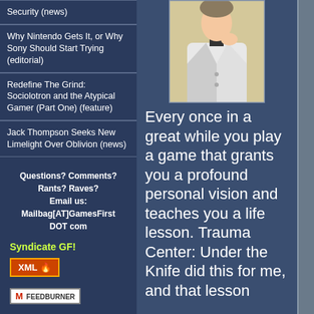Security (news)
Why Nintendo Gets It, or Why Sony Should Start Trying (editorial)
Redefine The Grind: Sociolotron and the Atypical Gamer (Part One) (feature)
Jack Thompson Seeks New Limelight Over Oblivion (news)
Questions? Comments? Rants? Raves? Email us: Mailbag[AT]GamesFirst DOT com
Syndicate GF!
[Figure (logo): XML badge with orange background and flame icon]
[Figure (logo): FeedBurner badge with logo]
[Figure (illustration): Anime character in white coat/jacket]
Every once in a great while you play a game that grants you a profound personal vision and teaches you a life lesson. Trauma Center: Under the Knife did this for me, and that lesson